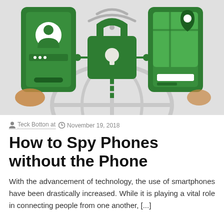[Figure (illustration): Infographic showing two smartphones connected by a line through a green padlock. Left phone shows a user profile with dots (password). Right phone shows a map with a location pin. Background shows a globe/wifi arc in light gray. Green color scheme.]
Teck Botton at   November 19, 2018
How to Spy Phones without the Phone
With the advancement of technology, the use of smartphones have been drastically increased. While it is playing a vital role in connecting people from one another, [...]